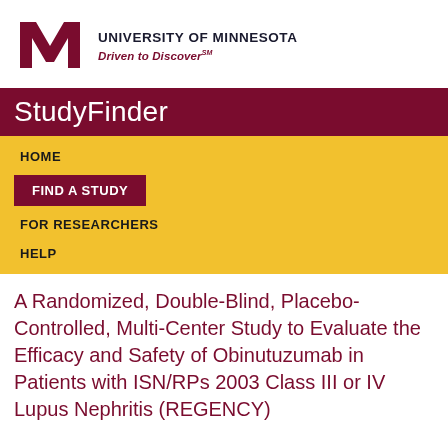[Figure (logo): University of Minnesota logo with gold M lettermark and wordmark 'UNIVERSITY OF MINNESOTA' with tagline 'Driven to Discover']
StudyFinder
HOME
FIND A STUDY
FOR RESEARCHERS
HELP
A Randomized, Double-Blind, Placebo-Controlled, Multi-Center Study to Evaluate the Efficacy and Safety of Obinutuzumab in Patients with ISN/RPs 2003 Class III or IV Lupus Nephritis (REGENCY)